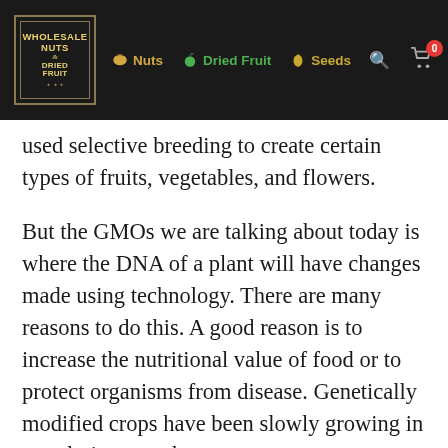Wholesale Nuts Dried Fruit — navigation: Nuts, Dried Fruit, Seeds
used selective breeding to create certain types of fruits, vegetables, and flowers.
But the GMOs we are talking about today is where the DNA of a plant will have changes made using technology. There are many reasons to do this. A good reason is to increase the nutritional value of food or to protect organisms from disease. Genetically modified crops have been slowly growing in popularity over the years,